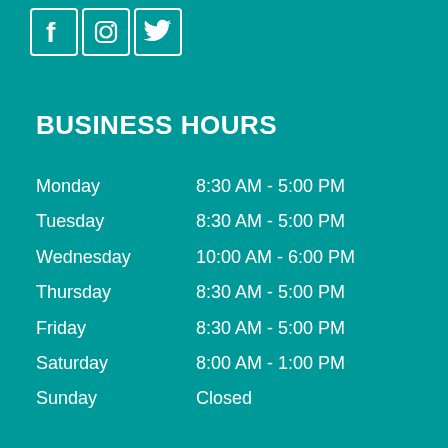[Figure (logo): Social media icons: Facebook, Instagram, Twitter in white outlined square boxes]
BUSINESS HOURS
| Day | Hours |
| --- | --- |
| Monday | 8:30 AM - 5:00 PM |
| Tuesday | 8:30 AM - 5:00 PM |
| Wednesday | 10:00 AM - 6:00 PM |
| Thursday | 8:30 AM - 5:00 PM |
| Friday | 8:30 AM - 5:00 PM |
| Saturday | 8:00 AM - 1:00 PM |
| Sunday | Closed |